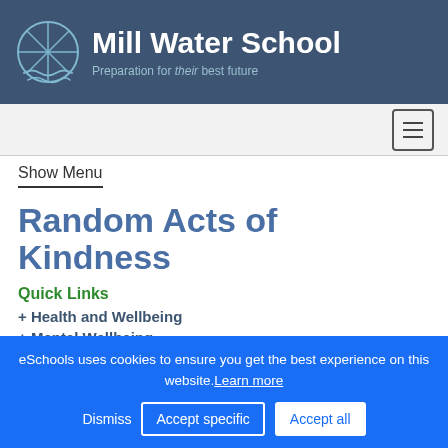Mill Water School — Preparation for their best future
Show Menu
Random Acts of Kindness
Quick Links
+ Health and Wellbeing
+ Mental Wellbeing
+ Random Acts of Kind...
eSchools uses cookies to ensure you get the best experience on this website. Learn more
Dismiss   Accept specific   Accept all